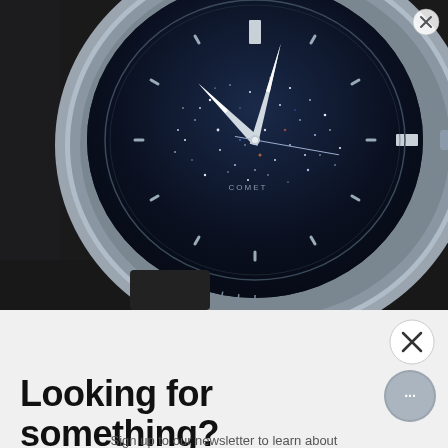[Figure (photo): Close-up macro photograph of a luxury watch face (Comet brand) with a deep blue glittering dial resembling a starry night sky, silver hands and hour markers, with a steel bezel and dark strap in the background.]
[Figure (other): Close button (X in circle) in top-right corner of image overlay]
[Figure (other): Close button (X) in lower-right area of page]
[Figure (other): Chat bubble button with ellipsis in lower-right corner]
Looking for something?
Sign up to our newsletter to learn about